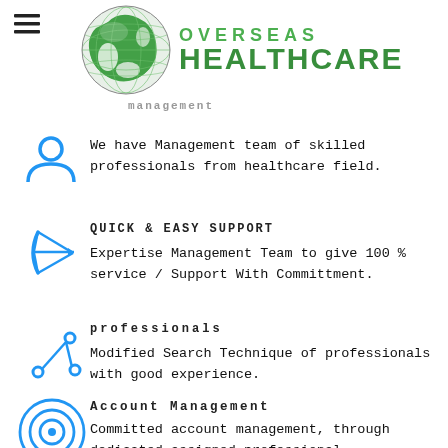[Figure (logo): Overseas Healthcare logo with green globe and green text 'OVERSEAS HEALTHCARE']
management
We have Management team of skilled professionals from healthcare field.
QUICK & EASY SUPPORT
Expertise Management Team to give 100 % service / Support With Committment.
professionals
Modified Search Technique of professionals with good experience.
Account Management
Committed account management, through dedicated assigned professional.